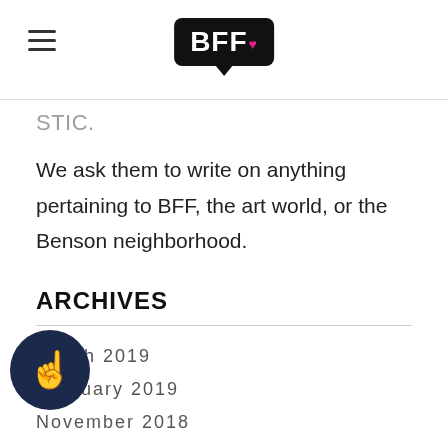BFF
We ask them to write on anything pertaining to BFF, the art world, or the Benson neighborhood.
ARCHIVES
March 2019
February 2019
November 2018
ber 2018
September 2018
August 2018